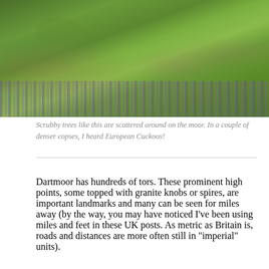[Figure (photo): Photograph of a grassy moorland hillside with purple flowers (bluebells) scattered among green grass and rocks]
Scrubby trees like this are scattered around on the moor. In a couple of denser copses, I heard European Cuckoos!
Dartmoor has hundreds of tors. These prominent high points, some topped with granite knobs or spires, are important landmarks and many can be seen for miles away (by the way, you may have noticed I’ve been using miles and feet in these UK posts. As metric as Britain is, roads and distances are more often still in “imperial” units).
[Figure (photo): Bottom portion of a photograph showing a misty/hazy moorland landscape with grey-blue sky]